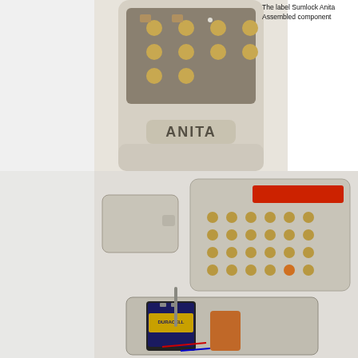[Figure (photo): Close-up photo of an ANITA brand calculator, showing the top portion with round gold-colored buttons and the ANITA logo on a cream/beige plastic body.]
The label Sumlock Anita Assembled component
[Figure (photo): Photo of a disassembled ANITA calculator showing the main calculator body with round gold buttons and red display, a detached battery cover/lid, a battery compartment with a Duracell 9V battery, and internal wiring visible.]